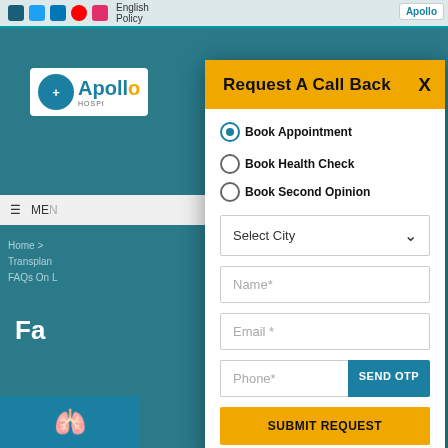[Figure (screenshot): Apollo Hospitals website with 'Request A Call Back' modal dialog open. The modal has a yellow header, radio button options (Book Appointment selected, Book Health Check, Book Second Opinion), a city selector dropdown, name field, email field, phone field with SEND OTP button, and a SUBMIT REQUEST button.]
Request A Call Back
Book Appointment   Book Health Check   Book Second Opinion
Select City
Name*
Email *
Phone*
SEND OTP
SUBMIT REQUEST